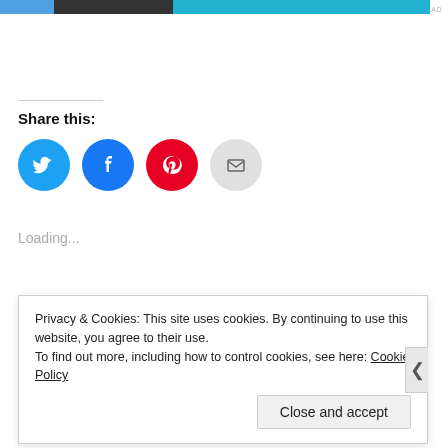[Figure (screenshot): Top ad bar with blue, dark, and cyan segments and REPORT THIS AD text]
Share this:
[Figure (infographic): Social share icons: Twitter (blue circle), Facebook (blue circle), Pinterest (red circle), Email (grey circle)]
Loading...
Privacy & Cookies: This site uses cookies. By continuing to use this website, you agree to their use.
To find out more, including how to control cookies, see here: Cookie Policy
Close and accept